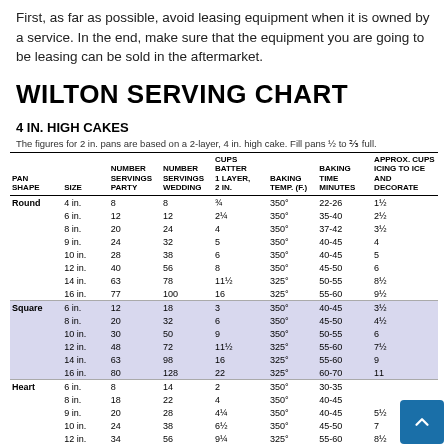First, as far as possible, avoid leasing equipment when it is owned by a service. In the end, make sure that the equipment you are going to be leasing can be sold in the aftermarket.
WILTON SERVING CHART
4 IN. HIGH CAKES
The figures for 2 in. pans are based on a 2-layer, 4 in. high cake. Fill pans ½ to ⅔ full.
| PAN SHAPE | SIZE | NUMBER SERVINGS PARTY | NUMBER SERVINGS WEDDING | CUPS BATTER 1 LAYER, 2 IN. | BAKING TEMP. (F.) | BAKING TIME MINUTES | APPROX. CUPS ICING TO ICE AND DECORATE |
| --- | --- | --- | --- | --- | --- | --- | --- |
| Round | 4 in. | 8 | 8 | ¾ | 350° | 22-26 | 1½ |
|  | 6 in. | 12 | 12 | 2¼ | 350° | 35-40 | 2½ |
|  | 8 in. | 20 | 24 | 4 | 350° | 37-42 | 3½ |
|  | 9 in. | 24 | 32 | 5 | 350° | 40-45 | 4 |
|  | 10 in. | 28 | 38 | 6 | 350° | 40-45 | 5 |
|  | 12 in. | 40 | 56 | 8 | 350° | 45-50 | 6 |
|  | 14 in. | 63 | 78 | 11½ | 325° | 50-55 | 8½ |
|  | 16 in. | 77 | 100 | 16 | 325° | 55-60 | 9½ |
| Square | 6 in. | 12 | 18 | 3 | 350° | 40-45 | 3½ |
|  | 8 in. | 20 | 32 | 6 | 350° | 45-50 | 4½ |
|  | 10 in. | 30 | 50 | 9 | 350° | 50-55 | 6 |
|  | 12 in. | 48 | 72 | 11½ | 325° | 55-60 | 7½ |
|  | 14 in. | 63 | 98 | 16 | 325° | 55-60 | 9 |
|  | 16 in. | 80 | 128 | 22 | 325° | 60-70 | 11 |
| Heart | 6 in. | 8 | 14 | 2 | 350° | 30-35 |  |
|  | 8 in. | 18 | 22 | 4 | 350° | 40-45 |  |
|  | 9 in. | 20 | 28 | 4¼ | 350° | 40-45 | 5½ |
|  | 10 in. | 24 | 38 | 6½ | 350° | 45-50 | 7 |
|  | 12 in. | 34 | 56 | 9¼ | 325° | 55-60 | 8½ |